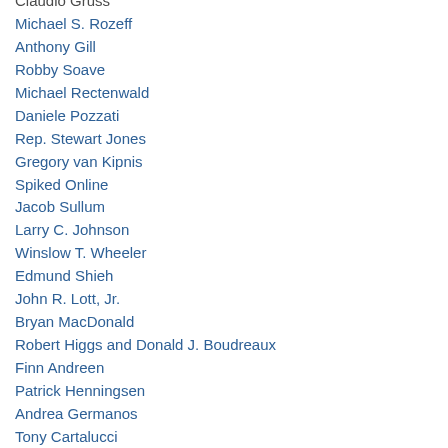Claudio Gruss
Michael S. Rozeff
Anthony Gill
Robby Soave
Michael Rectenwald
Daniele Pozzati
Rep. Stewart Jones
Gregory van Kipnis
Spiked Online
Jacob Sullum
Larry C. Johnson
Winslow T. Wheeler
Edmund Shieh
John R. Lott, Jr.
Bryan MacDonald
Robert Higgs and Donald J. Boudreaux
Finn Andreen
Patrick Henningsen
Andrea Germanos
Tony Cartalucci
T.J. Rodgers
Thierry Meyssan
Darren Smith
Joaquin Flores